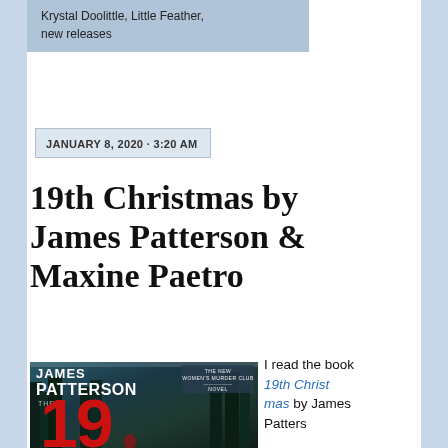Krystal Doolittle, Little Feather, new releases
JANUARY 8, 2020 · 3:20 AM
19th Christmas by James Patterson & Maxine Paetro
[Figure (photo): Book cover of '19th Christmas' by James Patterson, showing large red '19' numerals over a dark winter forest background with a figure in red. Text includes 'JAMES PATTERSON', 'THE NEW WOMEN'S MURDER CLUB NOVEL'.]
I read the book 19th Christmas by James Patters